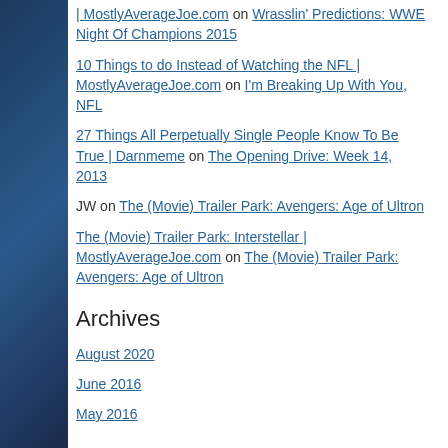| MostlyAverageJoe.com on Wrasslin' Predictions: WWE Night Of Champions 2015
10 Things to do Instead of Watching the NFL | MostlyAverageJoe.com on I'm Breaking Up With You, NFL
27 Things All Perpetually Single People Know To Be True | Darnmeme on The Opening Drive: Week 14, 2013
JW on The (Movie) Trailer Park: Avengers: Age of Ultron
The (Movie) Trailer Park: Interstellar | MostlyAverageJoe.com on The (Movie) Trailer Park: Avengers: Age of Ultron
Archives
August 2020
June 2016
May 2016